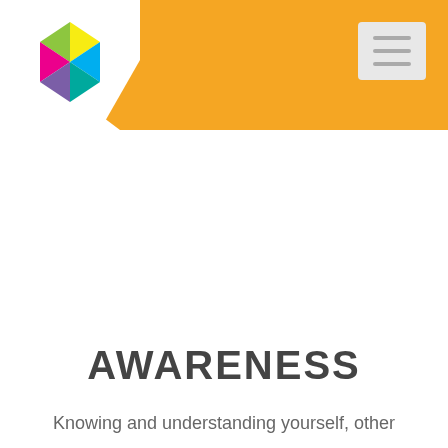[Figure (logo): Colorful hexagonal cube logo made of triangles in green, yellow, pink/magenta, blue, and purple colors]
AWARENESS
Knowing and understanding yourself, other